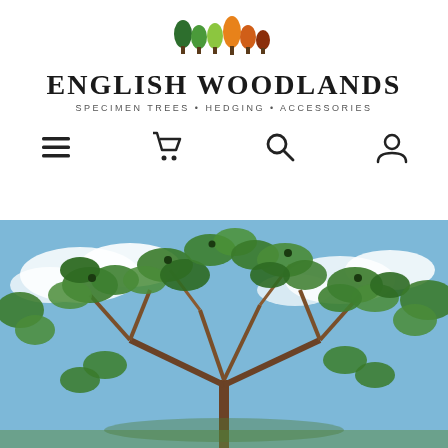[Figure (logo): English Woodlands logo with colored tree icons in green, lime, orange, and dark red/brown]
English Woodlands
Specimen Trees • Hedging • Accessories
[Figure (illustration): Navigation bar with hamburger menu, shopping cart, search, and user account icons]
[Figure (photo): Close-up photograph of a tree with broad green leaves and small fruits against a blue sky with clouds]